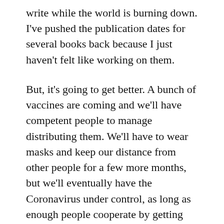write while the world is burning down. I've pushed the publication dates for several books back because I just haven't felt like working on them.
But, it's going to get better. A bunch of vaccines are coming and we'll have competent people to manage distributing them. We'll have to wear masks and keep our distance from other people for a few more months, but we'll eventually have the Coronavirus under control, as long as enough people cooperate by getting vaccinated and wearing fucking masks!
I'm doing more writing again. San Francisco Swingers will be published on January 1. I've